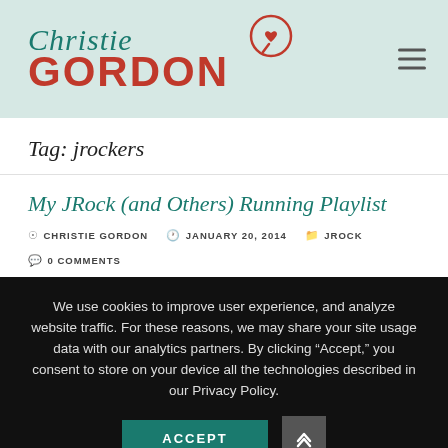[Figure (logo): Christie Gordon blog logo with speech bubble icon containing a heart, teal and red color scheme]
Tag: jrockers
My JRock (and Others) Running Playlist
CHRISTIE GORDON   JANUARY 20, 2014   JROCK   0 COMMENTS
We use cookies to improve user experience, and analyze website traffic. For these reasons, we may share your site usage data with our analytics partners. By clicking “Accept,” you consent to store on your device all the technologies described in our Privacy Policy.